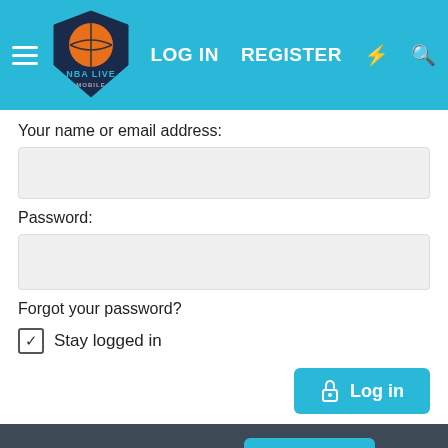[Figure (screenshot): NBA Live Mobile forum website header with logo, hamburger menu, LOG IN, REGISTER navigation links, lightning bolt and search icons on cyan/blue background]
Your name or email address:
Password:
Forgot your password?
Stay logged in
Log in
Don't have an account?
Register now
FORUM STATISTICS